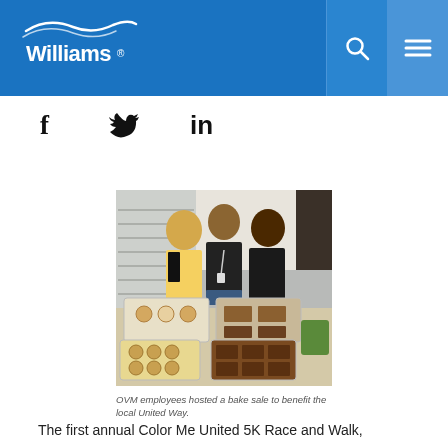Williams logo, search icon, menu icon
f  (Twitter bird)  in
[Figure (photo): Three women standing behind a table with baked goods (cookies, brownies, muffins) at an indoor OVM bake sale for United Way]
OVM employees hosted a bake sale to benefit the local United Way.
The first annual Color Me United 5K Race and Walk,